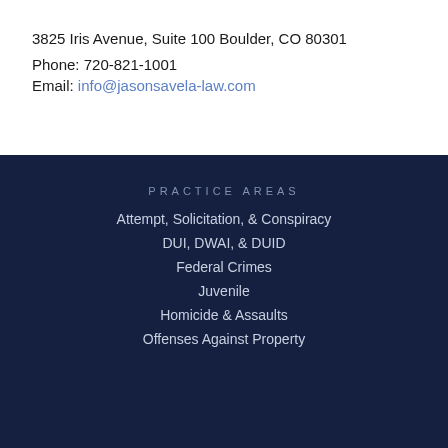3825 Iris Avenue, Suite 100 Boulder, CO 80301
Phone: 720-821-1001
Email: info@jasonsavela-law.com
PRACTICE AREAS
Attempt, Solicitation, & Conspiracy
DUI, DWAI, & DUID
Federal Crimes
Juvenile
Homicide & Assaults
Offenses Against Property